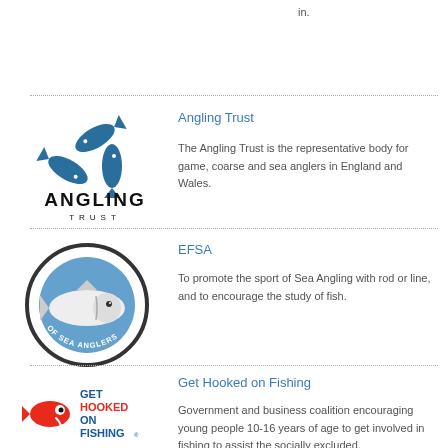in.
[Figure (logo): Angling Trust logo with stylised fish and text 'ANGLING TRUST']
Angling Trust
The Angling Trust is the representative body for game, coarse and sea anglers in England and Wales.
[Figure (logo): European Federation of Sea Anglers (EFSA) circular logo with a large fish in blue circle]
EFSA
To promote the sport of Sea Angling with rod or line, and to encourage the study of fish.
[Figure (logo): Get Hooked on Fishing logo with red fish and colourful text]
Get Hooked on Fishing
Government and business coalition encouraging young people 10-16 years of age to get involved in fishing to assist the socially excluded.